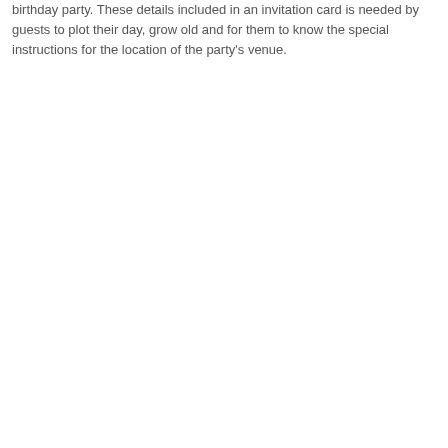birthday party. These details included in an invitation card is needed by guests to plot their day, grow old and for them to know the special instructions for the location of the party's venue.